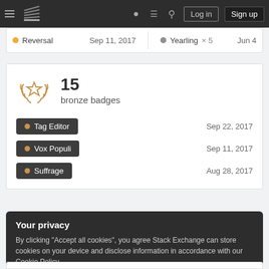Stack Exchange navigation bar with hamburger menu, logo, help, chat, search icons, Log in and Sign up buttons
Reversal  Sep 11, 2017    Yearling ×5  Jun 4
15 bronze badges
Tag Editor  Sep 22, 2017
Vox Populi  Sep 11, 2017
Suffrage  Aug 28, 2017
Your privacy
By clicking "Accept all cookies", you agree Stack Exchange can store cookies on your device and disclose information in accordance with our Cookie Policy.
Accept all cookies  Customize settings